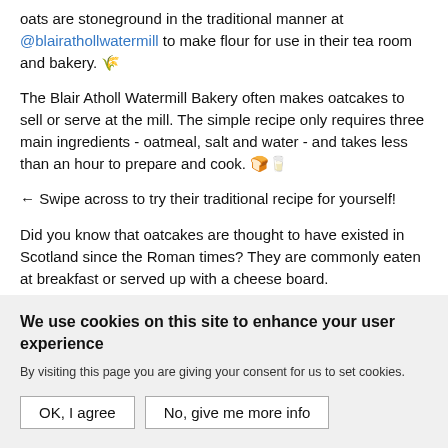oats are stoneground in the traditional manner at @blairathollwatermill to make flour for use in their tea room and bakery. 🌾
The Blair Atholl Watermill Bakery often makes oatcakes to sell or serve at the mill. The simple recipe only requires three main ingredients - oatmeal, salt and water - and takes less than an hour to prepare and cook. 🍞🥛
← Swipe across to try their traditional recipe for yourself!
Did you know that oatcakes are thought to have existed in Scotland since the Roman times? They are commonly eaten at breakfast or served up with a cheese board.
📍 @blairathollwatermill
view all 118 comments
We use cookies on this site to enhance your user experience
By visiting this page you are giving your consent for us to set cookies.
OK, I agree
No, give me more info